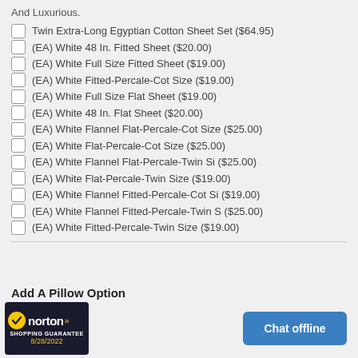And Luxurious.
Twin Extra-Long Egyptian Cotton Sheet Set ($64.95)
(EA) White 48 In. Fitted Sheet ($20.00)
(EA) White Full Size Fitted Sheet ($19.00)
(EA) White Fitted-Percale-Cot Size ($19.00)
(EA) White Full Size Flat Sheet ($19.00)
(EA) White 48 In. Flat Sheet ($20.00)
(EA) White Flannel Flat-Percale-Cot Size ($25.00)
(EA) White Flat-Percale-Cot Size ($25.00)
(EA) White Flannel Flat-Percale-Twin Si ($25.00)
(EA) White Flat-Percale-Twin Size ($19.00)
(EA) White Flannel Fitted-Percale-Cot Si ($19.00)
(EA) White Flannel Fitted-Percale-Twin S ($25.00)
(EA) White Fitted-Percale-Twin Size ($19.00)
Add A Pillow Option
[Figure (logo): Norton Shopping Guarantee badge, dated 8/28/2022]
Chat offline